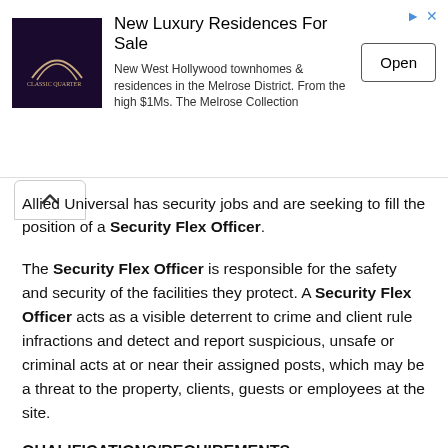[Figure (other): Advertisement banner: New Luxury Residences For Sale. New West Hollywood townhomes & residences in the Melrose District. From the high $1Ms. The Melrose Collection. With logo image and Open button.]
Allied Universal has security jobs and are seeking to fill the position of a Security Flex Officer.
The Security Flex Officer is responsible for the safety and security of the facilities they protect. A Security Flex Officer acts as a visible deterrent to crime and client rule infractions and detect and report suspicious, unsafe or criminal acts at or near their assigned posts, which may be a threat to the property, clients, guests or employees at the site.
QUALIFICATIONS/REQUIREMENTS:
Be at least 18 years of age with high school diploma or equivalent
Possess effective written and oral communication and